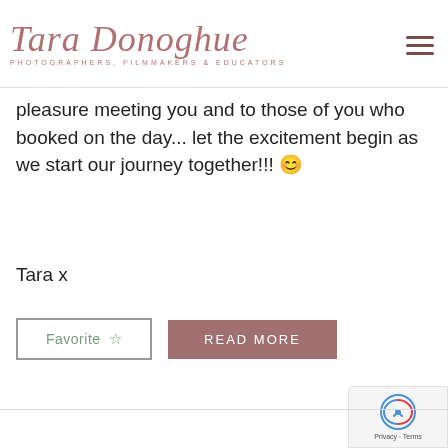Tara Donoghue — PHOTOGRAPHERS, FILMMAKERS & EDUCATORS
pleasure meeting you and to those of you who booked on the day... let the excitement begin as we start our journey together!!! 🙂
Tara x
[Figure (other): Favorite button with star icon and Read More button]
[Figure (other): reCAPTCHA badge with Privacy and Terms text]